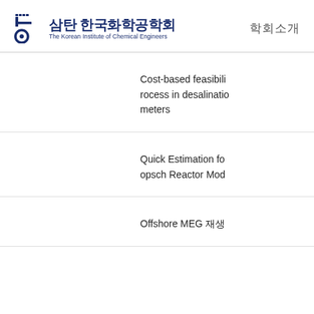삼탄 한국화학공학회 The Korean Institute of Chemical Engineers | 학회소개
Cost-based feasibili rocess in desalinatio meters
Quick Estimation fo opsch Reactor Mod
Offshore MEG 재생